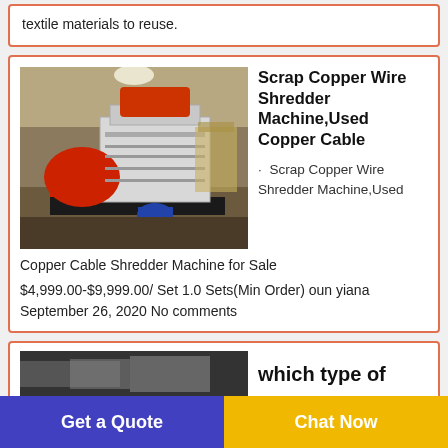textile materials to reuse.
[Figure (photo): Scrap Copper Wire Shredder Machine — industrial red and white shredding machine in a warehouse]
Scrap Copper Wire Shredder Machine,Used Copper Cable
Scrap Copper Wire Shredder Machine,Used Copper Cable Shredder Machine for Sale
$4,999.00-$9,999.00/ Set 1.0 Sets(Min Order) oun yiana September 26, 2020 No comments
which type of
Get a Quote
Chat Now